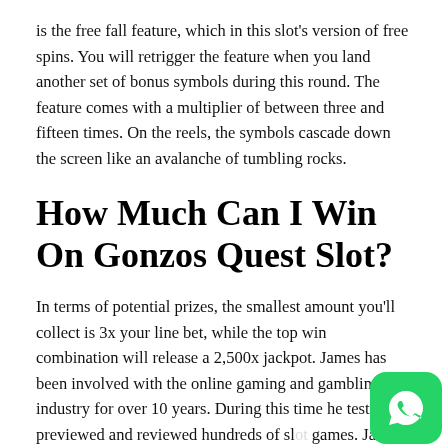is the free fall feature, which in this slot's version of free spins. You will retrigger the feature when you land another set of bonus symbols during this round. The feature comes with a multiplier of between three and fifteen times. On the reels, the symbols cascade down the screen like an avalanche of tumbling rocks.
How Much Can I Win On Gonzos Quest Slot?
In terms of potential prizes, the smallest amount you'll collect is 3x your line bet, while the top win combination will release a 2,500x jackpot. James has been involved with the online gaming and gambling industry for over 10 years. During this time he tested, previewed and reviewed hundreds of slot games. James loves discovering the next big thing, be it a brand new feature, a mega jackpot or being first to preview a